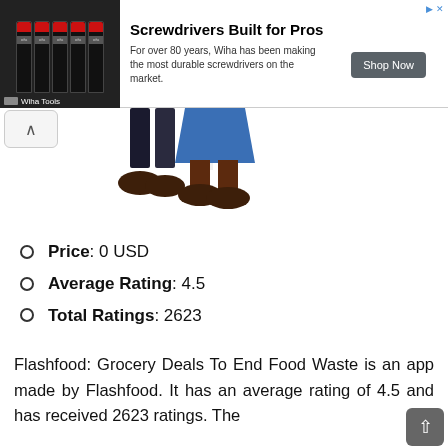[Figure (photo): Advertisement banner for Wiha Tools screwdrivers with product image, title 'Screwdrivers Built for Pros', body text, and 'Shop Now' button]
[Figure (illustration): Illustration showing lower halves of two people standing, one wearing a blue skirt]
Price: 0 USD
Average Rating: 4.5
Total Ratings: 2623
Flashfood: Grocery Deals To End Food Waste is an app made by Flashfood. It has an average rating of 4.5 and has received 2623 ratings. The